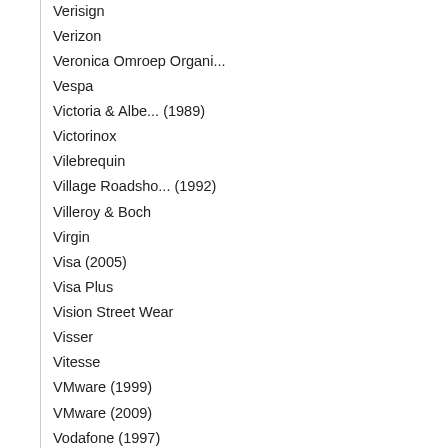Verisign
Verizon
Veronica Omroep Organi...
Vespa
Victoria & Albe... (1989)
Victorinox
Vilebrequin
Village Roadsho... (1992)
Villeroy & Boch
Virgin
Visa (2005)
Visa Plus
Vision Street Wear
Visser
Vitesse
VMware (1999)
VMware (2009)
Vodafone (1997)
Vodafone (2006)
VolkerRail
Volkswagen
Volvo
Vox
VOX
Vrije Universiteit Ams...
Vroom & Dreesmann
Vroom & Dreesmann
VRT (1991)
Vtel